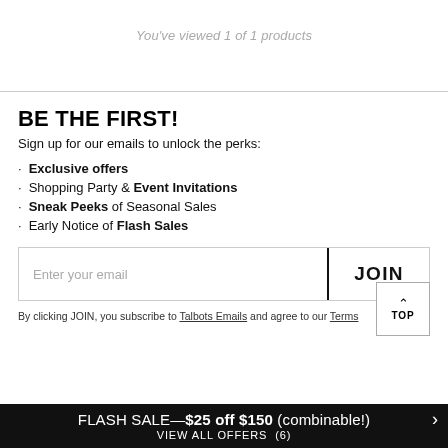You've viewed 1 of 1 products
BE THE FIRST!
Sign up for our emails to unlock the perks:
Exclusive offers
Shopping Party & Event Invitations
Sneak Peeks of Seasonal Sales
Early Notice of Flash Sales
Enter your email
JOIN
By clicking JOIN, you subscribe to Talbots Emails and agree to our Terms
FLASH SALE—$25 off $150 (combinable!) VIEW ALL OFFERS (6)